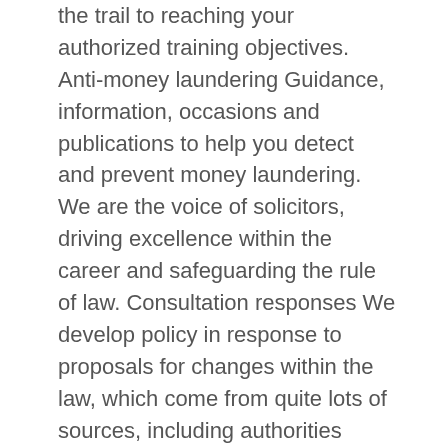the trail to reaching your authorized training objectives. Anti-money laundering Guidance, information, occasions and publications to help you detect and prevent money laundering. We are the voice of solicitors, driving excellence within the career and safeguarding the rule of law. Consultation responses We develop policy in response to proposals for changes within the law, which come from quite lots of sources, including authorities departments and non-governmental organisations.
Saudi Arabia recognises Quran as its structure, and is ruled on the idea of Islamic law. Iran has additionally witnessed a reiteration of Islamic law into its authorized system after 1979. During the final few many years, one of the elementary features of the motion of Islamic resurgence has been the call